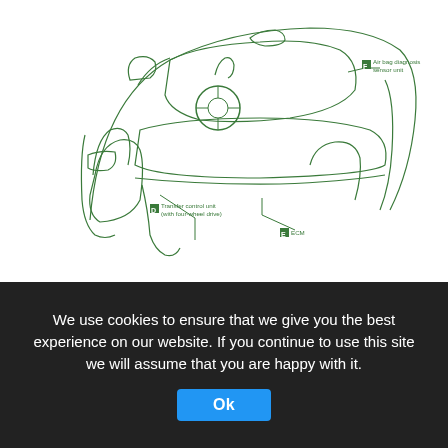[Figure (schematic): Green line drawing schematic of a car interior dashboard/dash area viewed from driver side, showing locations of components: Air bag diagnosis sensor unit (F), Transfer control unit with four-wheel drive (D), ECM (E). Lines point to component positions inside the vehicle cutaway diagram.]
2006 Datsun 280ZX Lift Dash Fuse Box Diagram 2006 Datsun 280ZX Lift Dash Fuse Box Map Fuse Panel Layout Diagram Parts: ECM, remote keyless entry transceiver, transfer control unit, antenna, fuse block, air bag diagnosis
We use cookies to ensure that we give you the best experience on our website. If you continue to use this site we will assume that you are happy with it.